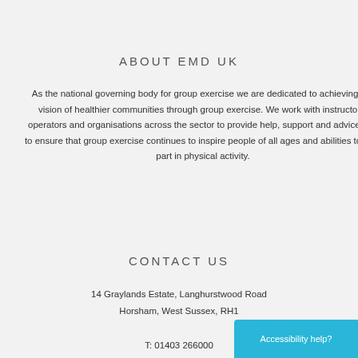ABOUT EMD UK
As the national governing body for group exercise we are dedicated to achieving our vision of healthier communities through group exercise. We work with instructors, operators and organisations across the sector to provide help, support and advice and to ensure that group exercise continues to inspire people of all ages and abilities to take part in physical activity.
CONTACT US
14 Graylands Estate, Langhurstwood Road
Horsham, West Sussex, RH1
T: 01403 266000